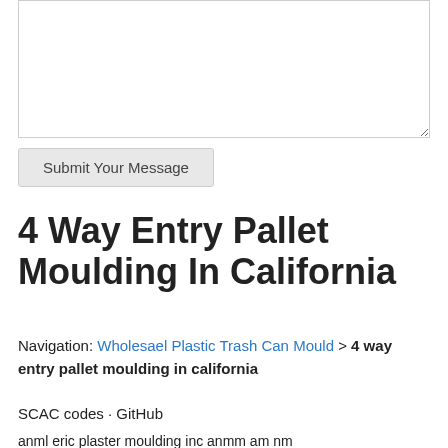[Figure (screenshot): A textarea input field (empty, with resize handle at bottom-right)]
Submit Your Message
4 Way Entry Pallet Moulding In California
Navigation: Wholesael Plastic Trash Can Mould > 4 way entry pallet moulding in california
SCAC codes · GitHub
anml eric plaster moulding inc anmm am nm